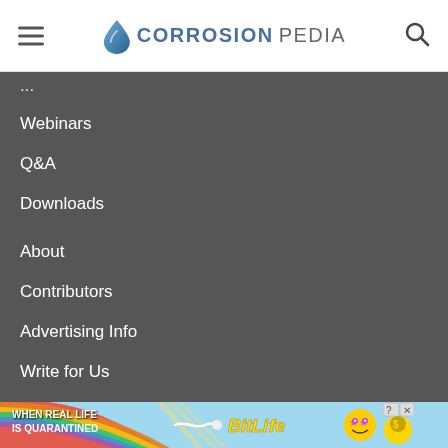CORROSIONPEDIA
Webinars
Q&A
Downloads
About
Contributors
Advertising Info
Write for Us
Contact Us
Sitemap
[Figure (photo): BitLife mobile game advertisement banner reading 'WHEN REAL LIFE IS QUARANTINED' with rainbow graphic and emoji characters]